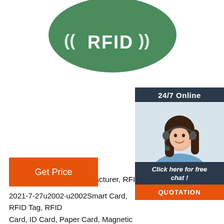[Figure (logo): Green oval RFID tag logo with white text ((RFID)) and signal lines]
[Figure (photo): 24/7 Online support widget with photo of woman wearing headset, 'Click here for free chat!' text, and orange QUOTATION button on dark blue background]
China Smart Card Manufacturer, RFID Tag, RFID C…
2021-7-27u2002·u2002Smart Card, RFID Tag, RFID Card, ID Card, Paper Card, Magnetic Stripe Card, M… Microchip Tag Company Introduction Shenzhen Sta… Co; Ltd Is A well-known multinational corporation wit… foreign investment, which is located in Shenzhen Sp… Zone in China.
[Figure (other): Orange 'Get Price' button]
[Figure (other): Orange dotted triangle TOP icon with orange TOP text]